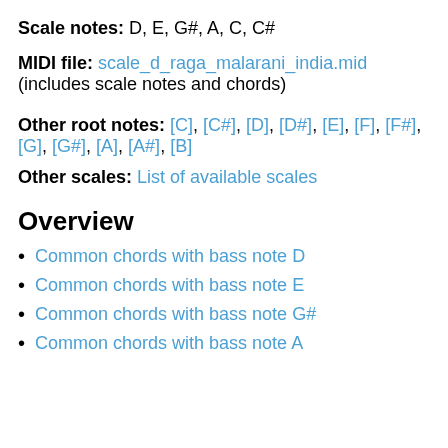Scale notes: D, E, G#, A, C, C#
MIDI file: scale_d_raga_malarani_india.mid (includes scale notes and chords)
Other root notes: [C], [C#], [D], [D#], [E], [F], [F#], [G], [G#], [A], [A#], [B]
Other scales: List of available scales
Overview
Common chords with bass note D
Common chords with bass note E
Common chords with bass note G#
Common chords with bass note A